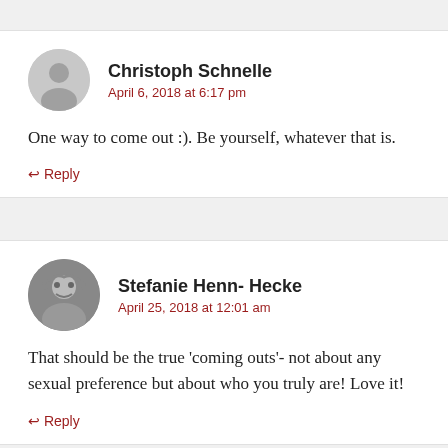Christoph Schnelle
April 6, 2018 at 6:17 pm
One way to come out :). Be yourself, whatever that is.
↩ Reply
Stefanie Henn- Hecke
April 25, 2018 at 12:01 am
That should be the true ‘coming outs’- not about any sexual preference but about who you truly are! Love it!
↩ Reply